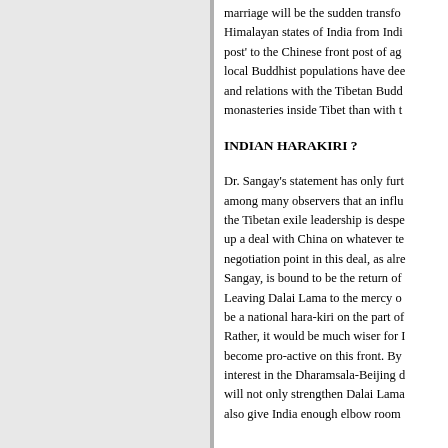marriage will be the sudden transfo... Himalayan states of India from Indi... post' to the Chinese front post of ag... local Buddhist populations have dee... and relations with the Tibetan Budd... monasteries inside Tibet than with t...
INDIAN HARAKIRI ?
Dr. Sangay's statement has only furt... among many observers that an influ... the Tibetan exile leadership is despe... up a deal with China on whatever te... negotiation point in this deal, as alre... Sangay, is bound to be the return of... Leaving Dalai Lama to the mercy o... be a national hara-kiri on the part of... Rather, it would be much wiser for I... become pro-active on this front. By... interest in the Dharamsala-Beijing d... will not only strengthen Dalai Lama... also give India enough elbow room...